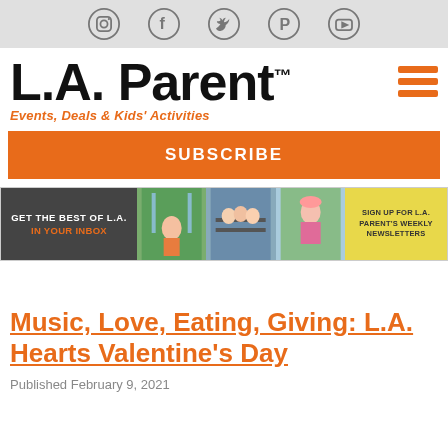[Figure (other): Social media icons row: Instagram, Facebook, Twitter, Pinterest, YouTube on grey background]
L.A. Parent™
Events, Deals & Kids' Activities
[Figure (other): Orange hamburger menu icon (3 horizontal bars)]
SUBSCRIBE
[Figure (other): Newsletter signup banner: GET THE BEST OF L.A. IN YOUR INBOX with three photos of children and a yellow sign-up box reading SIGN UP FOR L.A. PARENT'S WEEKLY NEWSLETTERS]
Music, Love, Eating, Giving: L.A. Hearts Valentine's Day
Published February 9, 2021